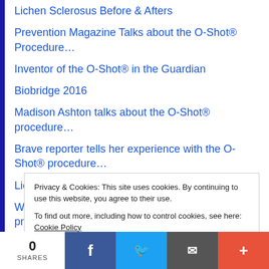Lichen Sclerosus Before & Afters
Prevention Magazine Talks about the O-Shot® Procedure…
Inventor of the O-Shot® in the Guardian
Biobridge 2016
Madison Ashton talks about the O-Shot® procedure…
Brave reporter tells her experience with the O-Shot® procedure…
Lichen Sclerosus
Woman tells private events surrounding O-Shot® procedure…
Privacy & Cookies: This site uses cookies. By continuing to use this website, you agree to their use.
To find out more, including how to control cookies, see here: Cookie Policy
0 SHARES | Facebook | Twitter | Email | +